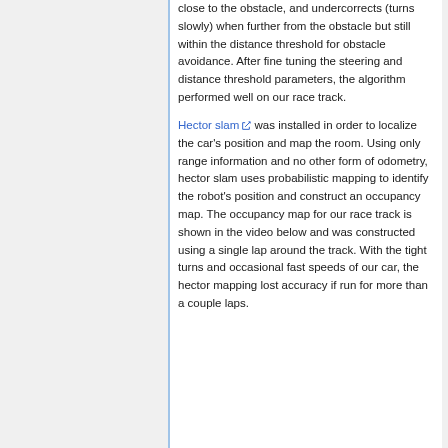close to the obstacle, and undercorrects (turns slowly) when further from the obstacle but still within the distance threshold for obstacle avoidance. After fine tuning the steering and distance threshold parameters, the algorithm performed well on our race track.
Hector slam was installed in order to localize the car's position and map the room. Using only range information and no other form of odometry, hector slam uses probabilistic mapping to identify the robot's position and construct an occupancy map. The occupancy map for our race track is shown in the video below and was constructed using a single lap around the track. With the tight turns and occasional fast speeds of our car, the hector mapping lost accuracy if run for more than a couple laps.